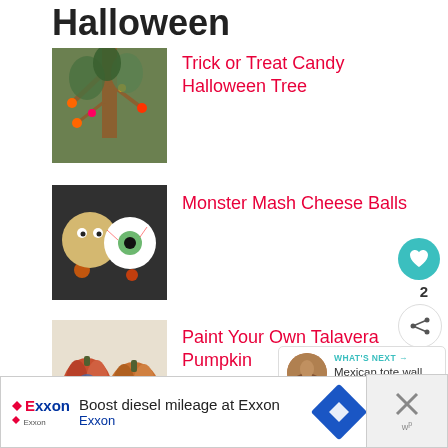Halloween
[Figure (photo): Halloween tree decorated with candy and ornaments]
Trick or Treat Candy Halloween Tree
[Figure (photo): Monster Mash Cheese Balls shaped like monster eyeballs]
Monster Mash Cheese Balls
[Figure (photo): Two painted Talavera pumpkins]
Paint Your Own Talavera Pumpkin
[Figure (infographic): What's Next widget with Mexican tote wall art thumbnail]
[Figure (infographic): Exxon advertisement: Boost diesel mileage at Exxon]